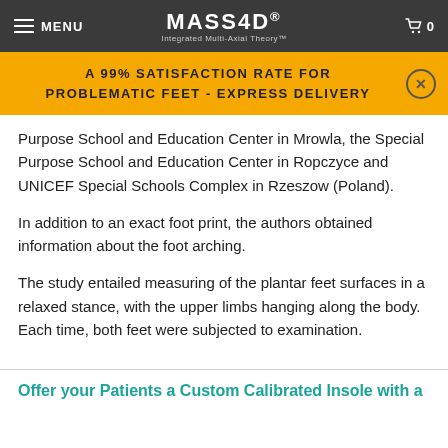MENU | MASS4D Integrated Multi-Axial Theory | 0
A 99% SATISFACTION RATE FOR PROBLEMATIC FEET - EXPRESS DELIVERY
Purpose School and Education Center in Mrowla, the Special Purpose School and Education Center in Ropczyce and UNICEF Special Schools Complex in Rzeszow (Poland).
In addition to an exact foot print, the authors obtained information about the foot arching.
The study entailed measuring of the plantar feet surfaces in a relaxed stance, with the upper limbs hanging along the body. Each time, both feet were subjected to examination.
Offer your Patients a Custom Calibrated Insole with a